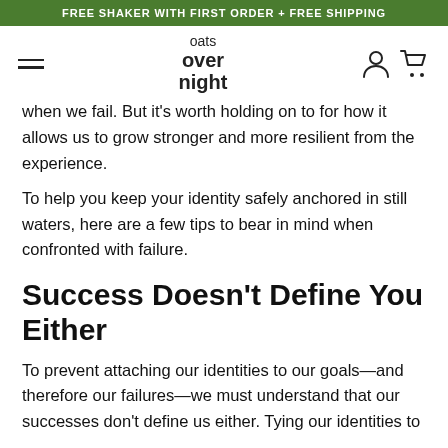FREE SHAKER WITH FIRST ORDER + FREE SHIPPING
[Figure (logo): Oats Overnight logo with hamburger menu and cart/user icons in navigation bar]
when we fail. But it’s worth holding on to for how it allows us to grow stronger and more resilient from the experience.
To help you keep your identity safely anchored in still waters, here are a few tips to bear in mind when confronted with failure.
Success Doesn’t Define You Either
To prevent attaching our identities to our goals—and therefore our failures—we must understand that our successes don’t define us either. Tying our identities to